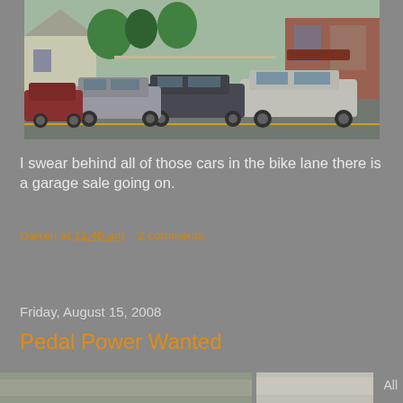[Figure (photo): Street scene showing a row of cars parked or driving in a bike lane along a residential street with houses and trees in the background.]
I swear behind all of those cars in the bike lane there is a garage sale going on.
Darren at 11:46 am    2 comments:
Share
Friday, August 15, 2008
Pedal Power Wanted
[Figure (photo): Partial view of two photos at the bottom of the blog page.]